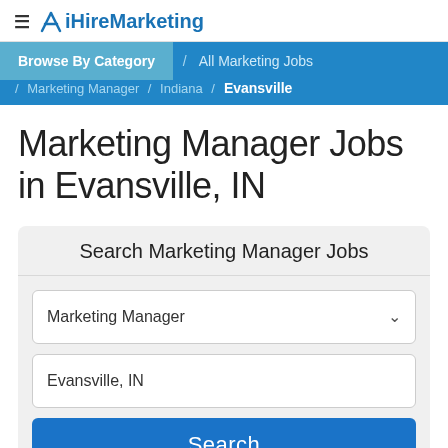≡ ✕ iHireMarketing
Browse By Category / All Marketing Jobs / Marketing Manager / Indiana / Evansville
Marketing Manager Jobs in Evansville, IN
Search Marketing Manager Jobs
Marketing Manager
Evansville, IN
Search